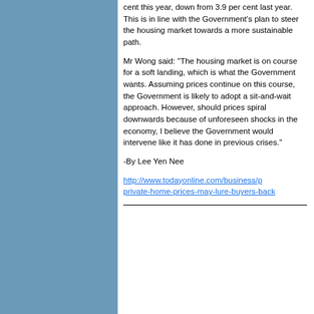cent this year, down from 3.9 per cent last year. This is in line with the Government’s plan to steer the housing market towards a more sustainable path.
Mr Wong said: “The housing market is on course for a soft landing, which is what the Government wants. Assuming prices continue on this course, the Government is likely to adopt a sit-and-wait approach. However, should prices spiral downwards because of unforeseen shocks in the economy, I believe the Government would intervene like it has done in previous crises.”
-By Lee Yen Nee
http://www.todayonline.com/business/private-home-prices-may-lure-buyers-back